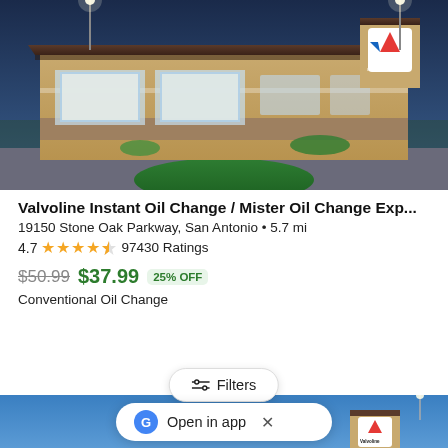[Figure (photo): Exterior photo of a Valvoline Instant Oil Change / Mister Oil Change Express location at dusk, showing the service bays, brick facade, green landscaping, and illuminated Valvoline sign on the building.]
Valvoline Instant Oil Change / Mister Oil Change Exp...
19150 Stone Oak Parkway, San Antonio • 5.7 mi
4.7 ★★★★½ 97430 Ratings
$50.99 $37.99 25% OFF
Conventional Oil Change
[Figure (screenshot): Partial view of a second Valvoline location photo with a 'Filters' button overlay and a 'G Open in app ×' banner.]